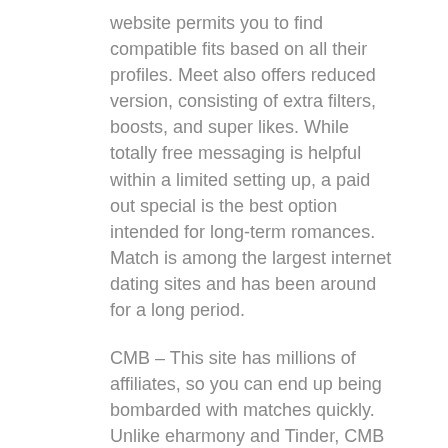website permits you to find compatible fits based on all their profiles. Meet also offers reduced version, consisting of extra filters, boosts, and super likes. While totally free messaging is helpful within a limited setting up, a paid out special is the best option intended for long-term romances. Match is among the largest internet dating sites and has been around for a long period.
CMB – This site has millions of affiliates, so you can end up being bombarded with matches quickly. Unlike eharmony and Tinder, CMB allows you to choose seven of your favorites each day. There are numerous free online dating sites that don't have these types of features. Therefore , if you're unsure whether this is the correct service for you personally, try it. You could possibly be surprised. It could worth trying out the free version to find out what is ideal for you.